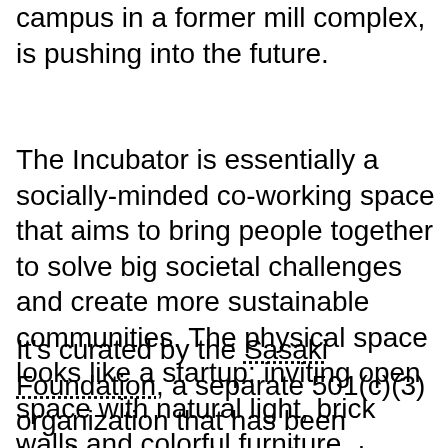campus in a former mill complex, is pushing into the future.
The Incubator is essentially a socially-minded co-working space that aims to bring people together to solve big societal challenges and create more sustainable communities. The physical space looks like a startup: inviting open space with natural light, brick walls and colorful furniture combined with multipurpose spaces and conference rooms.
It's curated by the Sasaki Foundation, a separate 501(c)(3) organization that has been funding research grants and university design programs for over a decade. With the Incubator, the Foundation seeks to invest in ideas that